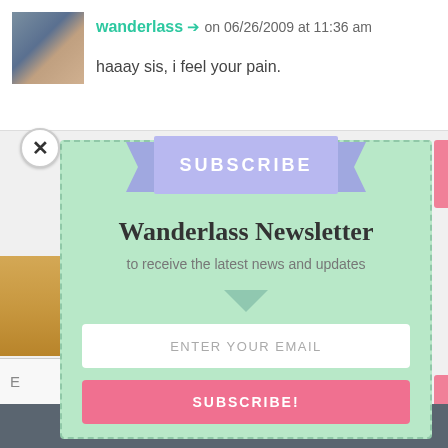wanderlass ➔ on 06/26/2009 at 11:36 am
haaay sis, i feel your pain.
[Figure (screenshot): Subscribe modal overlay on a blog page with newsletter signup form, ribbon banner, email input, and subscribe button]
Wanderlass Newsletter
to receive the latest news and updates
ENTER YOUR EMAIL
SUBSCRIBE!
Share This ∨